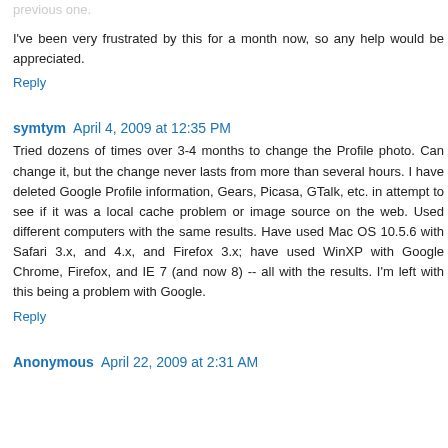previous one.
I've been very frustrated by this for a month now, so any help would be appreciated.
Reply
symtym  April 4, 2009 at 12:35 PM
Tried dozens of times over 3-4 months to change the Profile photo. Can change it, but the change never lasts from more than several hours. I have deleted Google Profile information, Gears, Picasa, GTalk, etc. in attempt to see if it was a local cache problem or image source on the web. Used different computers with the same results. Have used Mac OS 10.5.6 with Safari 3.x, and 4.x, and Firefox 3.x; have used WinXP with Google Chrome, Firefox, and IE 7 (and now 8) -- all with the results. I'm left with this being a problem with Google.
Reply
Anonymous  April 22, 2009 at 2:31 AM